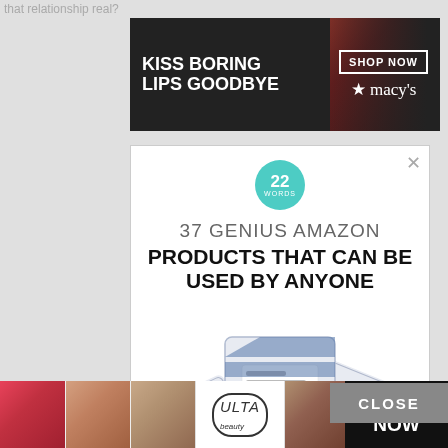that relationship real?
[Figure (screenshot): Macy's banner advertisement: 'KISS BORING LIPS GOODBYE' with a woman's face with red lips, SHOP NOW button, and Macy's star logo]
[Figure (screenshot): 22 Words content advertisement: '37 GENIUS AMAZON PRODUCTS THAT CAN BE USED BY ANYONE' with image of cleansing towelette wipe packages in blue/white chevron pattern]
[Figure (screenshot): Partial second 22 Words advertisement visible at bottom with badge and partial headline '37 BEAUTY PRODUCTS WITH...' with CLOSE button overlay]
[Figure (screenshot): Ulta Beauty banner advertisement at bottom showing makeup faces, Ulta logo, and SHOP NOW text on black background]